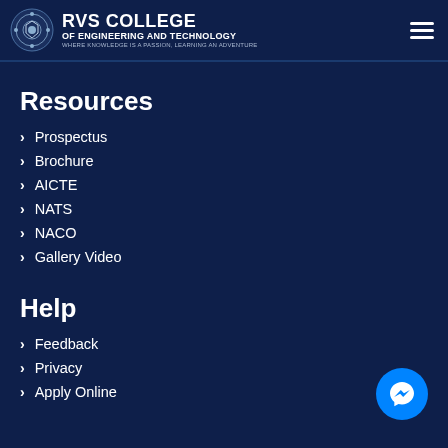RVS COLLEGE OF ENGINEERING AND TECHNOLOGY — WHERE KNOWLEDGE IS A PASSION, LEARNING AN ADVENTURE
Resources
Prospectus
Brochure
AICTE
NATS
NACO
Gallery Video
Help
Feedback
Privacy
Apply Online
[Figure (logo): Facebook Messenger floating button, blue circle with white lightning bolt messenger icon]